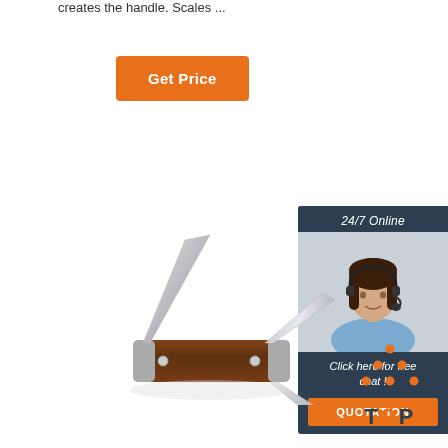creates the handle. Scales ...
Get Price
[Figure (photo): Customer service agent widget with '24/7 Online' header, photo of woman with headset, 'Click here for free chat!' text, and orange QUOTATION button]
[Figure (photo): Pocket knife with multiple blades open, brown wood handle with metal bolsters]
[Figure (logo): TOP logo with orange dots forming a triangle above the letters]